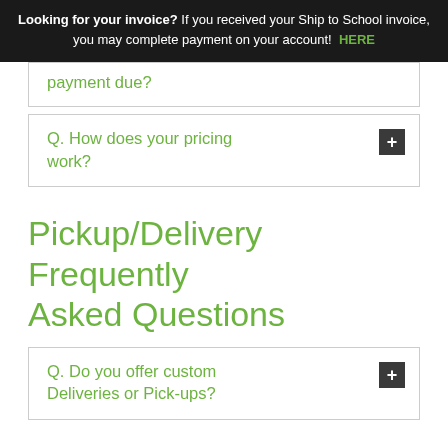Looking for your invoice? If you received your Ship to School invoice, you may complete payment on your account! HERE
payment due?
Q. How does your pricing work?
Pickup/Delivery Frequently Asked Questions
Q. Do you offer custom Deliveries or Pick-ups?